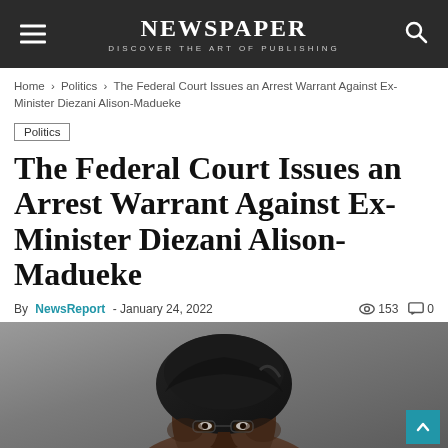NEWSPAPER — DISCOVER THE ART OF PUBLISHING
Home › Politics › The Federal Court Issues an Arrest Warrant Against Ex-Minister Diezani Alison-Madueke
Politics
The Federal Court Issues an Arrest Warrant Against Ex-Minister Diezani Alison-Madueke
By NewsReport - January 24, 2022  153  0
[Figure (photo): Close-up photo of a woman wearing a black head wrap, looking slightly to the side]